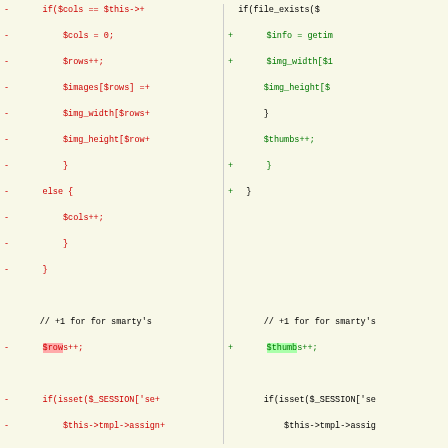[Figure (screenshot): Code diff view showing two columns of PHP source code with red removed lines on the left and green added lines on the right, with a unified diff hunk header in purple.]